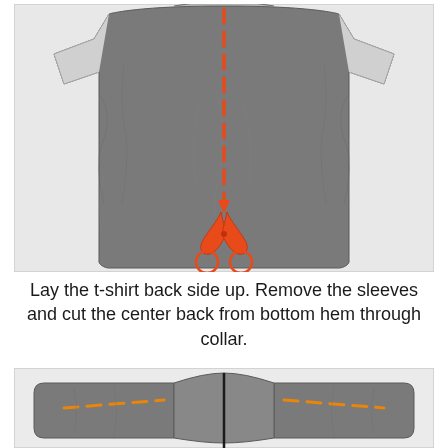[Figure (photo): Gray sleeveless t-shirt laid flat, back side up, with a red/orange dashed vertical line drawn from collar to bottom hem indicating where to cut, and red scissors icon at the bottom of the dashed line.]
Lay the t-shirt back side up. Remove the sleeves and cut the center back from bottom hem through collar.
[Figure (photo): Gray t-shirt collar/shoulder area laid flat showing the cut result, with orange dashed horizontal lines indicating cut marks across the shoulder/collar area.]